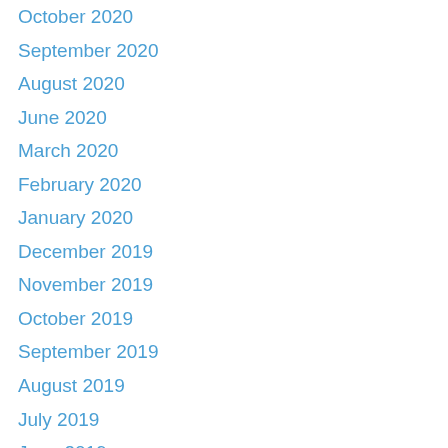October 2020
September 2020
August 2020
June 2020
March 2020
February 2020
January 2020
December 2019
November 2019
October 2019
September 2019
August 2019
July 2019
June 2019
May 2019
April 2019
March 2019
February 2019
January 2019
December 2018